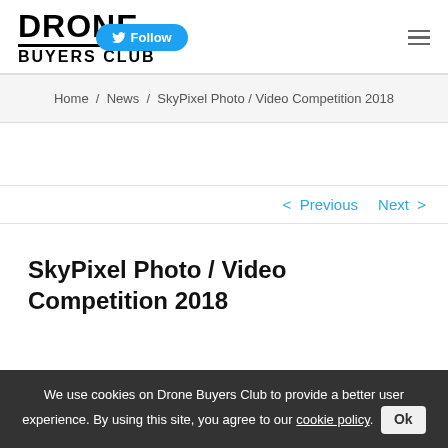DRONE BUYERS CLUB
Home / News / SkyPixel Photo / Video Competition 2018
< Previous   Next >
SkyPixel Photo / Video Competition 2018
We use cookies on Drone Buyers Club to provide a better user experience. By using this site, you agree to our cookie policy. Ok